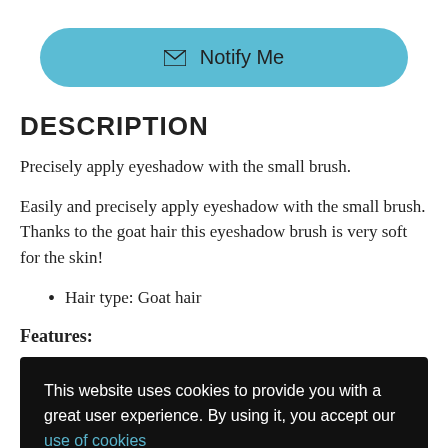[Figure (other): Teal 'Notify Me' button with envelope icon]
DESCRIPTION
Precisely apply eyeshadow with the small brush.
Easily and precisely apply eyeshadow with the small brush. Thanks to the goat hair this eyeshadow brush is very soft for the skin!
Hair type: Goat hair
Features:
This website uses cookies to provide you with a great user experience. By using it, you accept our use of cookies